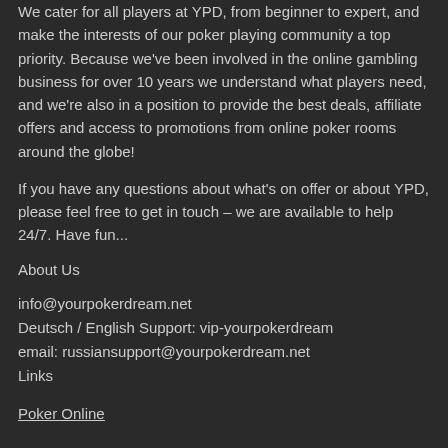We cater for all players at YPD, from beginner to expert, and make the interests of our poker playing community a top priority. Because we've been involved in the online gambling business for over 10 years we understand what players need, and we're also in a position to provide the best deals, affiliate offers and access to promotions from online poker rooms around the globe!
If you have any questions about what's on offer or about YPD, please feel free to get in touch – we are available to help 24/7. Have fun...
About Us
info@yourpokerdream.net
Deutsch / English Support: vip-yourpokerdream
email: russiansupport@yourpokerdream.net
Links
Poker Online